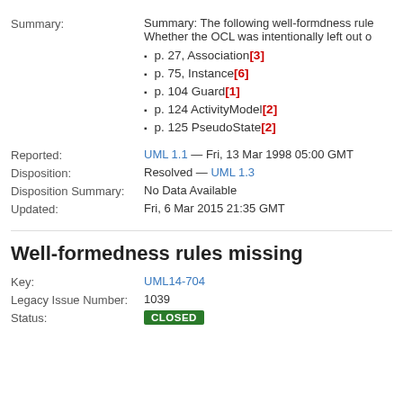Summary: The following well-formdness rules... Whether the OCL was intentionally left out o...
p. 27, Association[3]
p. 75, Instance[6]
p. 104 Guard[1]
p. 124 ActivityModel[2]
p. 125 PseudoState[2]
Reported: UML 1.1 — Fri, 13 Mar 1998 05:00 GMT
Disposition: Resolved — UML 1.3
Disposition Summary: No Data Available
Updated: Fri, 6 Mar 2015 21:35 GMT
Well-formedness rules missing
Key: UML14-704
Legacy Issue Number: 1039
Status: CLOSED